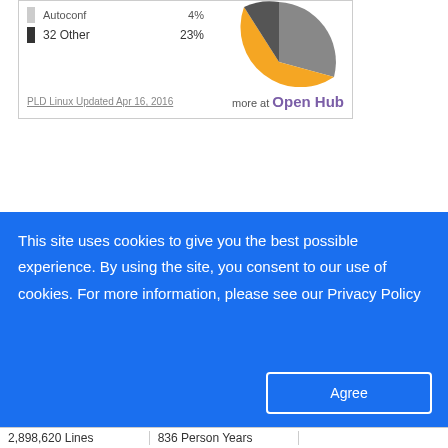[Figure (pie-chart): PLD Linux language breakdown]
HTML
Embed this in your web page:
<script type='text/javascript' src='https://openhub.net/p/pld-linux/widgets/project_languages?format=js'></script>
Cocomo
This site uses cookies to give you the best possible experience. By using the site, you consent to our use of cookies. For more information, please see our Privacy Policy
| 2,898,620 Lines | 836 Person Years |
| --- | --- |